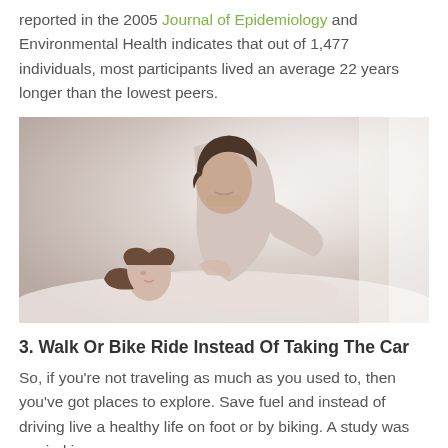reported in the 2005 Journal of Epidemiology and Environmental Health indicates that out of 1,477 individuals, most participants lived an average 22 years longer than the lowest peers.
[Figure (photo): A man and woman in an intimate moment, with the man leaning down toward the woman who is lying down, both in light-colored clothing against a white background.]
3. Walk Or Bike Ride Instead Of Taking The Car
So, if you're not traveling as much as you used to, then you've got places to explore. Save fuel and instead of driving live a healthy life on foot or by biking. A study was carried in